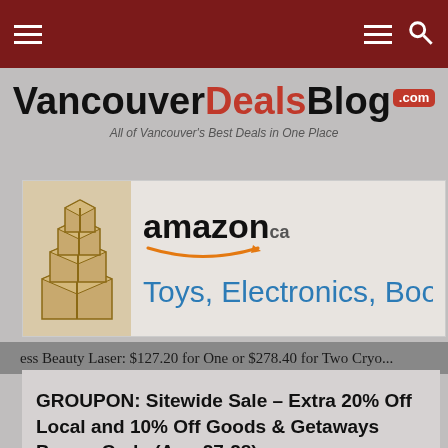Navigation bar with hamburger menu and search icon
VancouverDealsBlog .com — All of Vancouver's Best Deals in One Place
[Figure (screenshot): Amazon.ca advertisement banner showing stacked Amazon boxes on the left and 'amazon.ca' logo with text 'Toys, Electronics, Boo...' on the right]
ess Beauty Laser: $127.20 for One or $278.40 for Two Cryo...
GROUPON: Sitewide Sale – Extra 20% Off Local and 10% Off Goods & Getaways Promo Code (Aug 27-28)